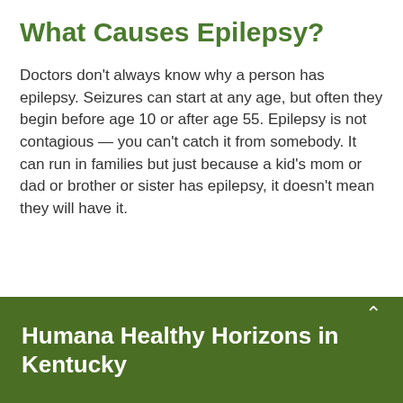What Causes Epilepsy?
Doctors don't always know why a person has epilepsy. Seizures can start at any age, but often they begin before age 10 or after age 55. Epilepsy is not contagious — you can't catch it from somebody. It can run in families but just because a kid's mom or dad or brother or sister has epilepsy, it doesn't mean they will have it.
Humana Healthy Horizons in Kentucky